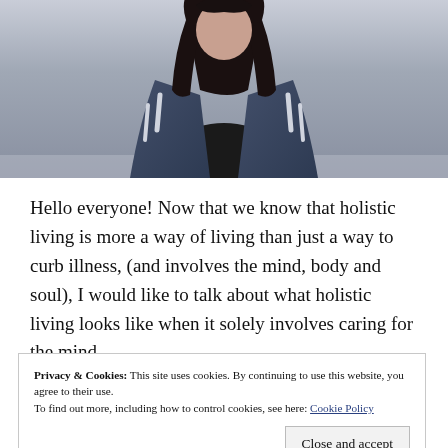[Figure (photo): Photo of a young woman with long dark hair wearing a black top and a navy blue jacket with white stripes, photographed against a light grey background]
Hello everyone! Now that we know that holistic living is more a way of living than just a way to curb illness, (and involves the mind, body and soul), I would like to talk about what holistic living looks like when it solely involves caring for the mind.
Privacy & Cookies: This site uses cookies. By continuing to use this website, you agree to their use. To find out more, including how to control cookies, see here: Cookie Policy
Close and accept
practice of burning and clearing away of necessary